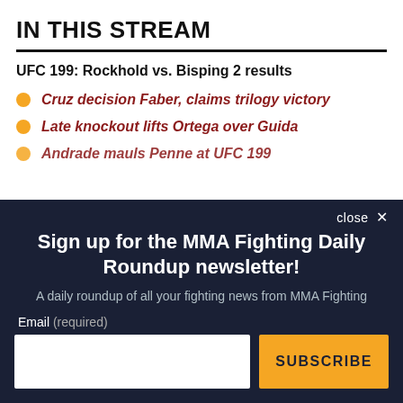IN THIS STREAM
UFC 199: Rockhold vs. Bisping 2 results
Cruz decision Faber, claims trilogy victory
Late knockout lifts Ortega over Guida
Andrade mauls Penne at UFC 199
close ×
Sign up for the MMA Fighting Daily Roundup newsletter!
A daily roundup of all your fighting news from MMA Fighting
Email (required)
SUBSCRIBE
By submitting your email, you agree to our Terms and Privacy Notice. You can opt out at any time. This site is protected by reCAPTCHA and the Google Privacy Policy and Terms of Service apply.